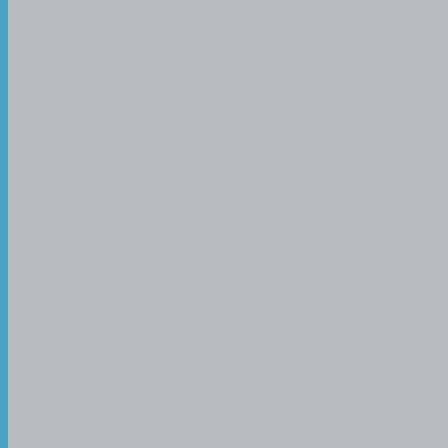Elkhart Indiana" on bell...17/6...crow's foot...fully assembled long Pedler case.
34566...Metal..."Pedler Custombuilt"...17/6...crow's foot.
35890...Metal..."Pedler American" in ornate Art Deco engraving...17/6...fully assembled long Pedler case...crow's foot.
36066...Metal..."The Pedler Co." in oval with lyre crown...17/6...fully assembled long Pedler case...crow's foot.
36070...Metal..."Student" and "Made By Pedler"...17/6...fully assembled long Pedler case...crow's foot.
37665...Metal..."Pedler Hoosier" (elaborate art deco bell